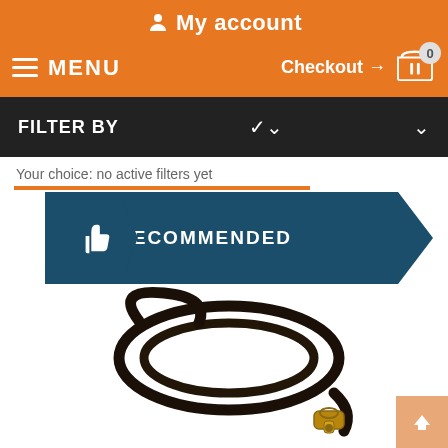My account
MENU  Checkout → 0
FILTER BY
Your choice: no active filters yet
[Figure (infographic): Recommended banner with thumbs-up icon on dark teal/navy background with ribbon shape]
[Figure (photo): A dark brown round leather dog leash coiled with a brass clip/hook at the end, on white background]
ROUND LEATHER DOG LEASH FOR